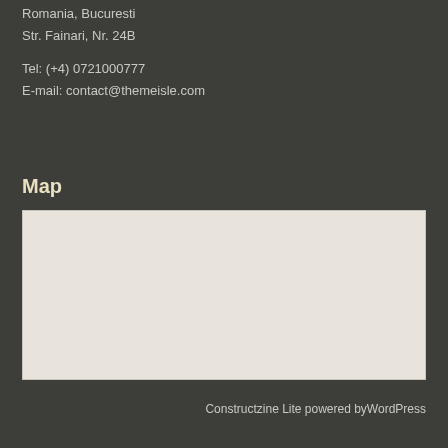Romania, Bucuresti
Str. Fainari, Nr. 24B

Tel: (+4) 0721000777
E-mail: contact@themeisle.com
Map
[Figure (map): A blank/placeholder map area shown as a light beige/grey rectangle representing an embedded Google Map or similar map widget.]
Constructzine Lite powered byWordPress